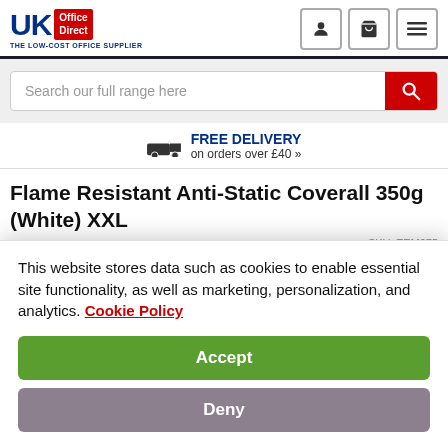[Figure (logo): UK Office Direct logo — blue UK text, red box with 'Office Direct', tagline 'THE LOW-COST OFFICE SUPPLIER']
[Figure (infographic): Navigation icons: person/account, shopping cart, hamburger menu — each in a rounded square border]
Search our full range here
FREE DELIVERY on orders over £40 »
Flame Resistant Anti-Static Coverall 350g (White) XXL
SKU: TEM075
This website stores data such as cookies to enable essential site functionality, as well as marketing, personalization, and analytics. Cookie Policy
Accept
Deny